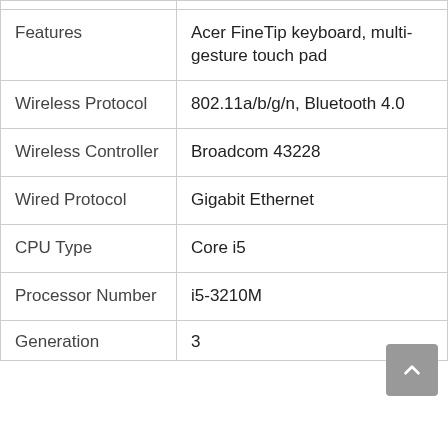| Attribute | Value |
| --- | --- |
| Features | Acer FineTip keyboard, multi-gesture touch pad |
| Wireless Protocol | 802.11a/b/g/n, Bluetooth 4.0 |
| Wireless Controller | Broadcom 43228 |
| Wired Protocol | Gigabit Ethernet |
| CPU Type | Core i5 |
| Processor Number | i5-3210M |
| Generation | 3 |